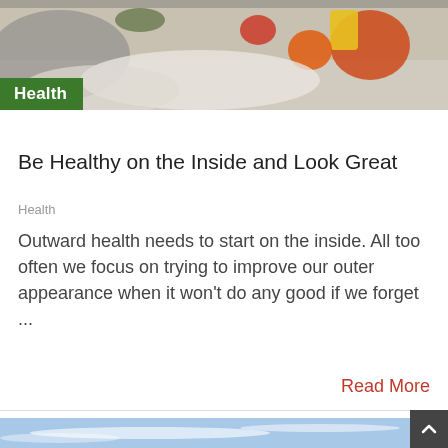[Figure (photo): Food ingredients including flour, vegetables, and colorful items on a surface]
Health
Be Healthy on the Inside and Look Great
Health
Outward health needs to start on the inside. All too often we focus on trying to improve our outer appearance when it won't do any good if we forget ...
Read More
[Figure (photo): Blue sky with wispy clouds]